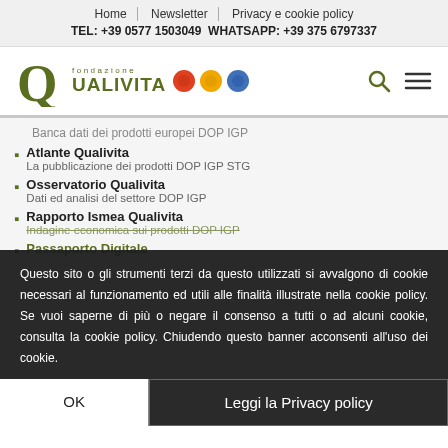Home | Newsletter | Privacy e cookie policy
TEL: +39 0577 1503049  WHATSAPP: +39 375 6797337
[Figure (logo): Fondazione Qualivita logo with green Q letter, text 'fondazione QUALIVITA' and three colored circular badges (red, yellow, blue/green)]
Banca dati dei prodotti europei DOP IGP
Atlante Qualivita
La pubblicazione dei prodotti DOP IGP STG
Osservatorio Qualivita
Dati ed analisi del settore DOP IGP
Rapporto Ismea Qualivita
Indagine economica sui prodotti DOP IGP
Passaporto Digitale
Questo sito o gli strumenti terzi da questo utilizzati si avvalgono di cookie necessari al funzionamento ed utili alle finalità illustrate nella cookie policy. Se vuoi saperne di più o negare il consenso a tutti o ad alcuni cookie, consulta la cookie policy. Chiudendo questo banner acconsenti all'uso dei cookie.
OK
Leggi la Privacy policy
Organizzazione di servizi
Origin Italia
Associazione...